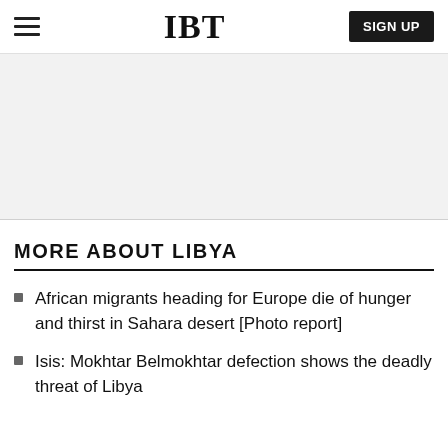IBT | SIGN UP
[Figure (other): Gray advertisement banner area]
MORE ABOUT LIBYA
African migrants heading for Europe die of hunger and thirst in Sahara desert [Photo report]
Isis: Mokhtar Belmokhtar defection shows the deadly threat of Libya